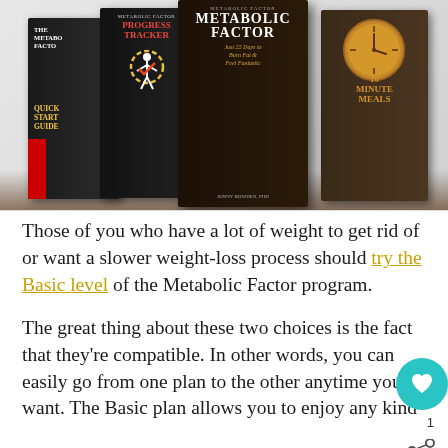[Figure (photo): Product image showing a set of books: The Metabolic Factor Quick Start Guide, Metabolic Factor Progress Tracker, The Metabolic Factor (Just 22 Days to Burn Fat & Feel Fantastic) by Jonny Bowden PhD, and 10 Minute Meals]
Those of you who have a lot of weight to get rid of or want a slower weight-loss process should try the Basic level of the Metabolic Factor program.
The great thing about these two choices is the fact that they're compatible. In other words, you can easily go from one plan to the other anytime you want. The Basic plan allows you to enjoy any kind